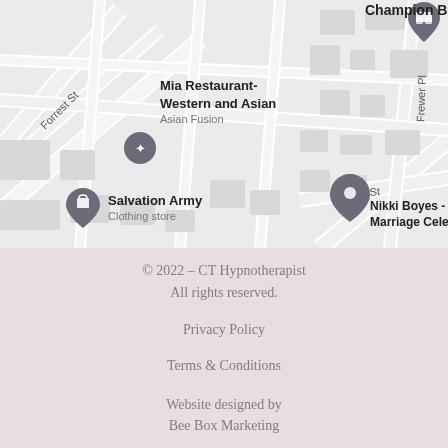[Figure (map): Google Maps screenshot showing street map with markers for Mia Restaurant-Western and Asian (Asian Fusion), Champion Bay hotel, Nikki Boyes - Marriage Celebrant, and Salvation Army Clothing store. Streets visible include Forrest St, George Rd, Victoria St, Frewer Pl.]
© 2022 – CT Hypnotherapist
All rights reserved.
Privacy Policy
Terms & Conditions
Website designed by
Bee Box Marketing